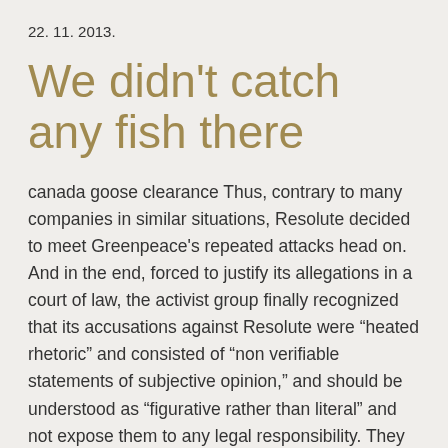22. 11. 2013.
We didn't catch any fish there
canada goose clearance Thus, contrary to many companies in similar situations, Resolute decided to meet Greenpeace's repeated attacks head on. And in the end, forced to justify its allegations in a court of law, the activist group finally recognized that its accusations against Resolute were “heated rhetoric” and consisted of “non verifiable statements of subjective opinion,” and should be understood as “figurative rather than literal” and not expose them to any legal responsibility. They also recognized that Resolute had caused “no loss of forest cover.” Serious admissions, which